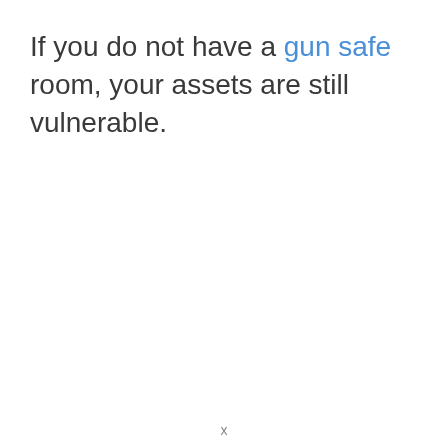If you do not have a gun safe room, your assets are still vulnerable.
x